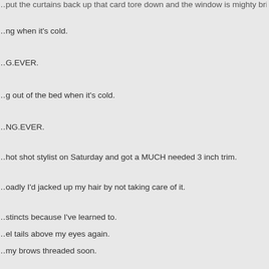…put the curtains back up that card tore down and the window is mighty bright as the sun…
…ng when it's cold.
…G.EVER.
…g out of the bed when it's cold.
…NG.EVER.
…hot shot stylist on Saturday and got a MUCH needed 3 inch trim.
…oadly I'd jacked up my hair by not taking care of it.
…stincts because I've learned to.
…el tails above my eyes again.
…my brows threaded soon.
…about giving up coffee.
…why I would though.
…drink a lot of it.
…st cut back.
…try to NOT pull my hair back anymore for the rest of the year.
…pulled back now.
…TOMORROW I'm going to try to NOT pull my hair back anymore for the rest of the year.